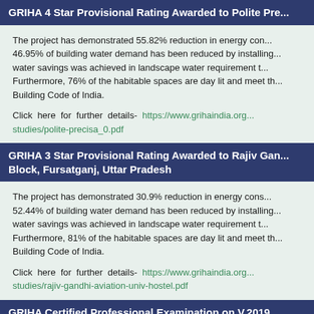GRIHA 4 Star Provisional Rating Awarded to Polite Precisa
The project has demonstrated 55.82% reduction in energy consumption. 46.95% of building water demand has been reduced by installing fixtures. water savings was achieved in landscape water requirement through. Furthermore, 76% of the habitable spaces are day lit and meet the Building Code of India.
Click here for further details- https://www.grihaindia.org/studies/polite-precisa_0.pdf
GRIHA 3 Star Provisional Rating Awarded to Rajiv Gandhi Aviation University Hostel Block, Fursatganj, Uttar Pradesh
The project has demonstrated 30.9% reduction in energy consumption. 52.44% of building water demand has been reduced by installing fixtures. water savings was achieved in landscape water requirement through. Furthermore, 81% of the habitable spaces are day lit and meet the Building Code of India.
Click here for further details- https://www.grihaindia.org/studies/rajiv-gandhi-aviation-univ-hostel.pdf
GRIHA Certified Professional Examination on V.2019